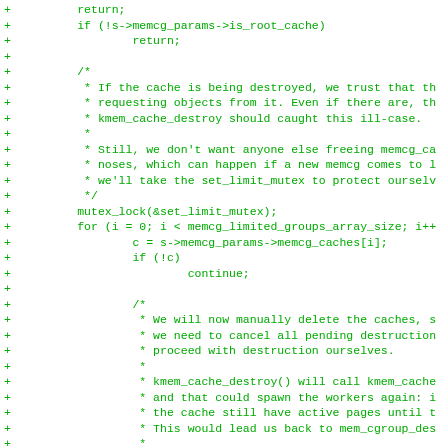[Figure (other): Diff/patch code fragment showing C source code additions (lines prefixed with +). The code handles memcg cache destruction logic including mutex locking, iterating cache groups, and managing cache lifecycle.]